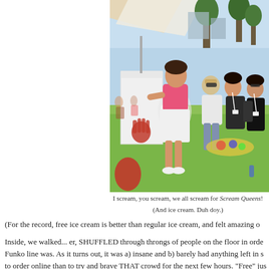[Figure (photo): Outdoor scene at Comic-Con showing a woman in a pink tank top and white skirt posing next to a white cart with a red handprint on it, while three other women stand behind her reacting with excitement. The event appears to be an ice cream promotion for the show Scream Queens. Background shows parkway with trees, buildings, and various people.]
I scream, you scream, we all scream for Scream Queens!
(And ice cream. Duh doy.)
(For the record, free ice cream is better than regular ice cream, and felt amazing o
Inside, we walked... er, SHUFFLED through throngs of people on the floor in orde Funko line was. As it turns out, it was a) insane and b) barely had anything left in s to order online than to try and brave THAT crowd for the next few hours. "Free" jus when it came to the floor at Comic-Con, and while we were  wandering around, lo